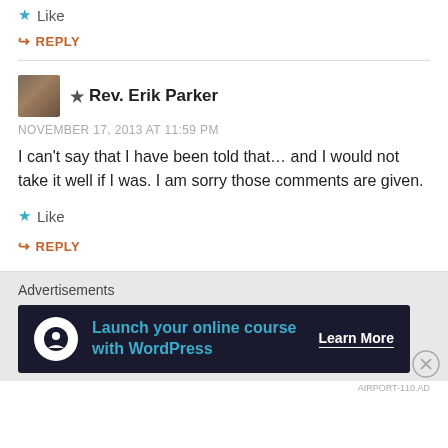Like
REPLY
★ Rev. Erik Parker
NOVEMBER 17, 2013 AT 11:59 PM
I can't say that I have been told that... and I would not take it well if I was. I am sorry those comments are given.
Like
REPLY
Advertisements
[Figure (other): Advertisement banner: Launch your online course with WordPress – Learn More]
AIRPORT-110.AD